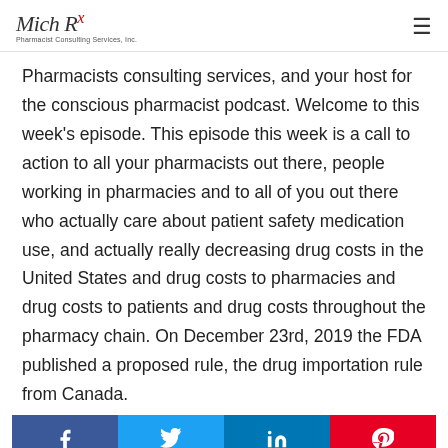Mich Rx — Pharmacist Consulting Services, Inc.
Pharmacists consulting services, and your host for the conscious pharmacist podcast. Welcome to this week's episode. This episode this week is a call to action to all your pharmacists out there, people working in pharmacies and to all of you out there who actually care about patient safety medication use, and actually really decreasing drug costs in the United States and drug costs to pharmacies and drug costs to patients and drug costs throughout the pharmacy chain. On December 23rd, 2019 the FDA published a proposed rule, the drug importation rule from Canada.
[Figure (infographic): Social sharing bar with Facebook, Twitter, LinkedIn, and Pinterest buttons]
I'm speechless for a moment because really does